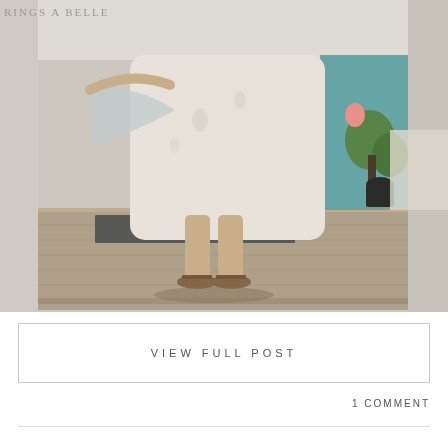RINGS A BELLE
[Figure (photo): A woman in a flowing white/light printed midi dress and brown sandals standing on a weathered wooden deck platform, holding out the dress fabric, with green plants and a teal structure in the background, bright sunny day.]
VIEW FULL POST
1 COMMENT